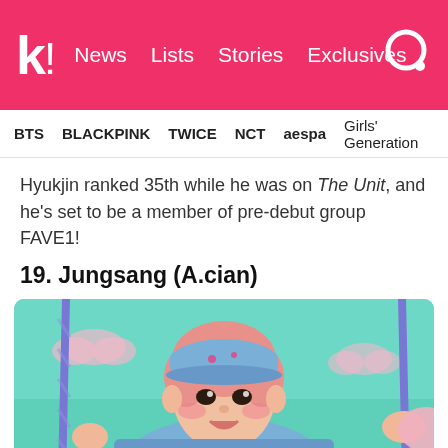k! News Lists Stories Exclusives
BTS  BLACKPINK  TWICE  NCT  aespa  Girls' Generation
Hyukjin ranked 35th while he was on The Unit, and he's set to be a member of pre-debut group FAVE1!
19. Jungsang (A.cian)
[Figure (photo): Young man with pink hair wearing a blue cap and light blue jacket, holding blue ropes, in front of a mint/teal background with decorative elements]